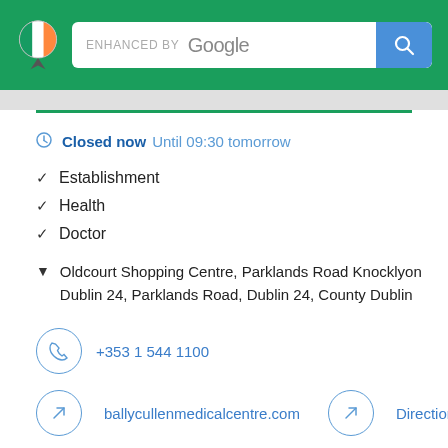[Figure (screenshot): Green header bar with Irish flag map pin logo and Google search bar with search button]
Closed now Until 09:30 tomorrow
✓ Establishment
✓ Health
✓ Doctor
Oldcourt Shopping Centre, Parklands Road Knocklyon Dublin 24, Parklands Road, Dublin 24, County Dublin
+353 1 544 1100
ballycullenmedicalcentre.com
Directions
Write a review